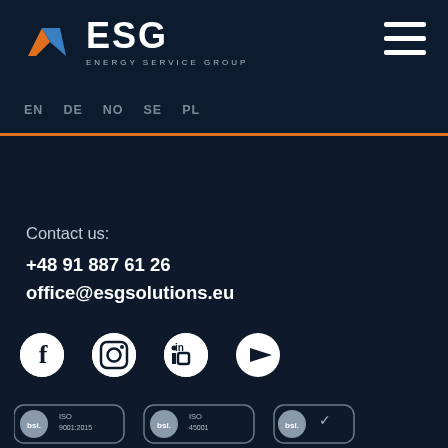[Figure (logo): ESG Energy Service Group logo with orange and blue chevron icon, white ESG text and ENERGY SERVICE GROUP subtitle]
[Figure (other): Hamburger menu icon (three white horizontal lines) in top right]
EN   DE   NO   SE   PL
Contact us:
+48 91 887 61 26
office@esgsolutions.eu
[Figure (other): Social media icons row: Facebook, Instagram, LinkedIn, YouTube]
[Figure (other): BSI certification badges at bottom: ISO 9001:2015, ISO 45001, and a third BSI badge]